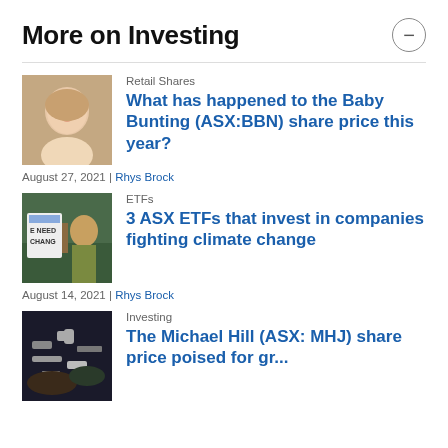More on Investing
[Figure (photo): Close-up photo of a baby with blue eyes]
Retail Shares
What has happened to the Baby Bunting (ASX:BBN) share price this year?
August 27, 2021 | Rhys Brock
[Figure (photo): Person holding protest signs saying 'WE NEED CHANGE' at a climate protest]
ETFs
3 ASX ETFs that invest in companies fighting climate change
August 14, 2021 | Rhys Brock
[Figure (photo): Person looking at jewelry or accessories]
Investing
The Michael Hill (ASX: MHJ) share price poised for growth